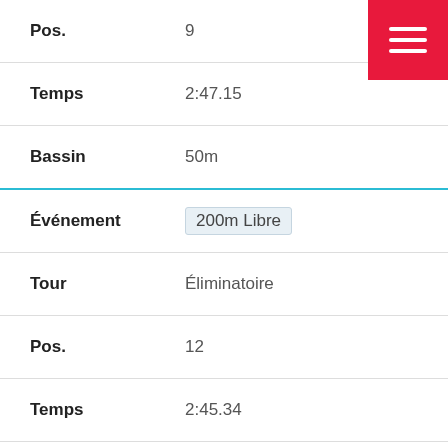| Pos. | 9 |
| Temps | 2:47.15 |
| Bassin | 50m |
| Événement | 200m Libre |
| Tour | Éliminatoire |
| Pos. | 12 |
| Temps | 2:45.34 |
| Bassin | 50m |
| Événement | 400m Libre |